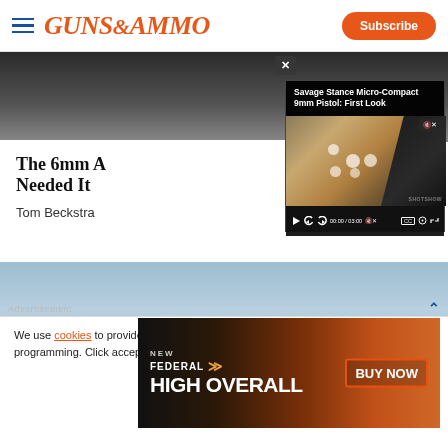Guns & Ammo — Subscribe
[Figure (screenshot): Guns & Ammo website screenshot showing article page with video overlay of Savage Stance Micro-Compact 9mm Pistol: First Look, partially visible article title 'The 6mm A... Needed It' by Tom Beckstra, and Federal High Overall advertisement banner, with a cookie consent banner overlay]
We use cookies to provide you with the best experience in Outdoors programming. Click accept to continue or read about our Privacy Policy.